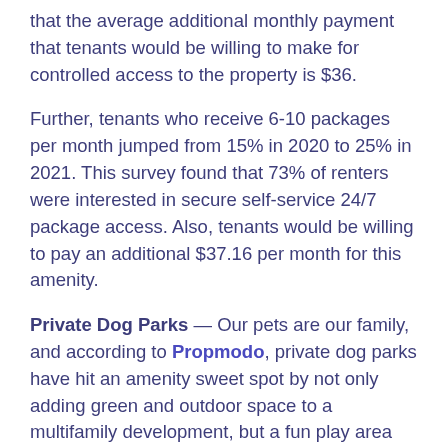that the average additional monthly payment that tenants would be willing to make for controlled access to the property is $36.
Further, tenants who receive 6-10 packages per month jumped from 15% in 2020 to 25% in 2021. This survey found that 73% of renters were interested in secure self-service 24/7 package access. Also, tenants would be willing to pay an additional $37.16 per month for this amenity.
Private Dog Parks — Our pets are our family, and according to Propmodo, private dog parks have hit an amenity sweet spot by not only adding green and outdoor space to a multifamily development, but a fun play area for residents' four-legged family members.
WFH + Entrepreneurship — There were a record number of people quitting and starting their own businesses by the end of 2021, with some calling it the